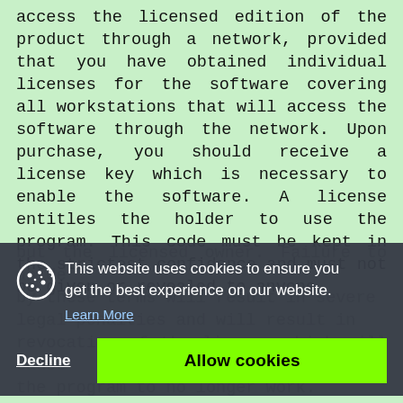access the licensed edition of the product through a network, provided that you have obtained individual licenses for the software covering all workstations that will access the software through the network. Upon purchase, you should receive a license key which is necessary to enable the software. A license entitles the holder to use the program. This code must be kept in the strictest confidence and must not be given or revealed to anyone but the licensed owner. Failure to abide by these terms will result in severe legal penalties and will result in revocation of the license which will cause the program to no longer work.

Without prejudice to other rights, Vovsoft may terminate this agreement if licensee breaches any of its terms and
[Figure (screenshot): Cookie consent banner overlay with dark semi-transparent background. Shows cookie icon, text 'This website uses cookies to ensure you get the best experience on our website.', 'Learn More' link, and two buttons: 'Decline' and 'Allow cookies' (green).]